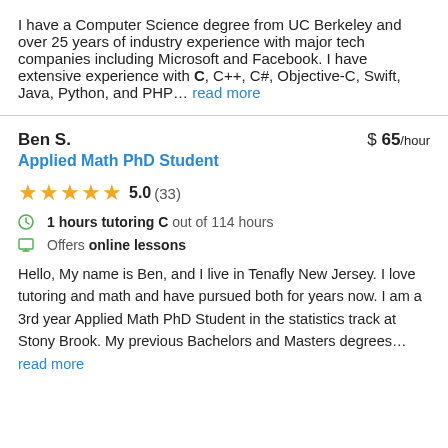I have a Computer Science degree from UC Berkeley and over 25 years of industry experience with major tech companies including Microsoft and Facebook. I have extensive experience with C, C++, C#, Objective-C, Swift, Java, Python, and PHP… read more
Ben S.  $ 65/hour
Applied Math PhD Student
★★★★★ 5.0 (33)
1 hours tutoring C out of 114 hours
Offers online lessons
Hello, My name is Ben, and I live in Tenafly New Jersey. I love tutoring and math and have pursued both for years now. I am a 3rd year Applied Math PhD Student in the statistics track at Stony Brook. My previous Bachelors and Masters degrees… read more